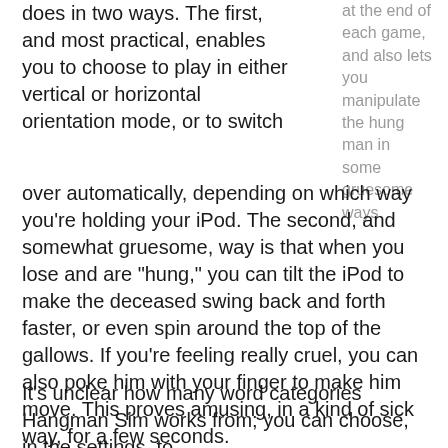does in two ways. The first, and most practical, enables you to choose to play in either vertical or horizontal orientation mode, or to switch over automatically, depending on which way you're holding your iPod. The second, and somewhat gruesome, way is that when you lose and are “hung,” you can tilt the iPod to make the deceased swing back and forth faster, or even spin around the top of the gallows. If you’re feeling really cruel, you can also poke him with your finger to make him move. This proves amusing, in a kind of sick way, for a few seconds.
at the end of each game, and also lets you manipulate the hung man in some gruesome ways.
It’s unclear how many word categories Hangman Sim works from; you can choose, in the settings, to